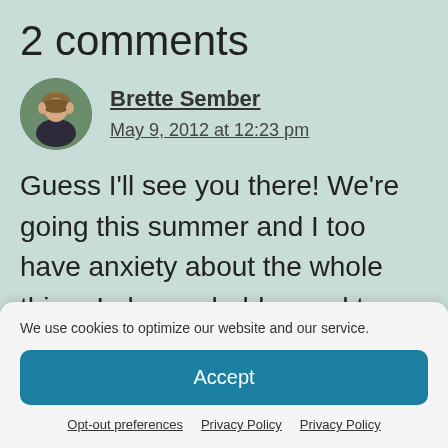2 comments
Brette Sember
May 9, 2012 at 12:23 pm
Guess I'll see you there! We're going this summer and I too have anxiety about the whole thing. I also probably need to learn to
We use cookies to optimize our website and our service.
Accept
Opt-out preferences   Privacy Policy   Privacy Policy